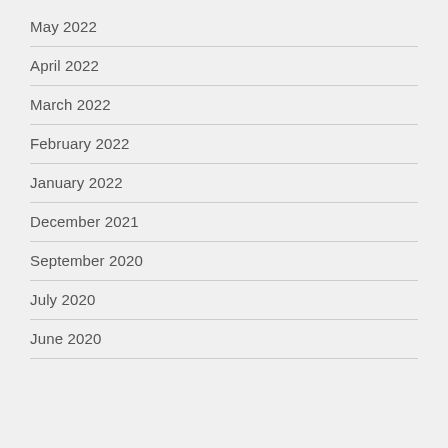May 2022
April 2022
March 2022
February 2022
January 2022
December 2021
September 2020
July 2020
June 2020